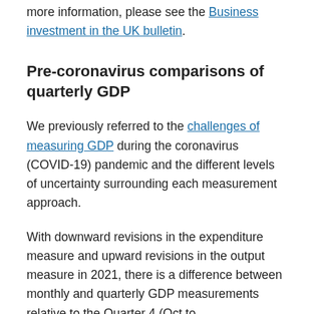more information, please see the Business investment in the UK bulletin.
Pre-coronavirus comparisons of quarterly GDP
We previously referred to the challenges of measuring GDP during the coronavirus (COVID-19) pandemic and the different levels of uncertainty surrounding each measurement approach.
With downward revisions in the expenditure measure and upward revisions in the output measure in 2021, there is a difference between monthly and quarterly GDP measurements relative to the Quarter 4 (Oct to